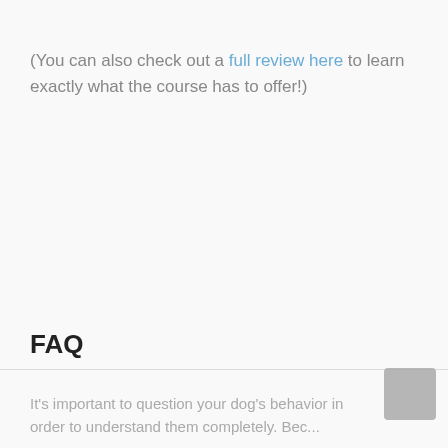(You can also check out a full review here to learn exactly what the course has to offer!)
FAQ
It's important to question your dog's behavior in order to understand them completely. Because...